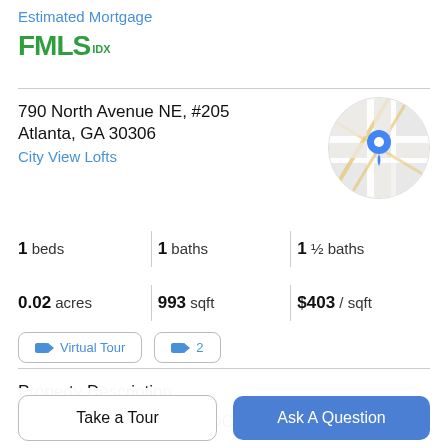Estimated Mortgage
[Figure (logo): FMLS IDX logo in green]
790 North Avenue NE, #205
Atlanta, GA 30306
City View Lofts
[Figure (map): Circular map thumbnail showing street map with blue location pin]
1 beds | 1 baths | 1 ½ baths
0.02 acres | 993 sqft | $403 / sqft
Virtual Tour  2
Property Description
LOCATION LOCATION LOCATION! Less than 1 block to
Take a Tour
Ask A Question